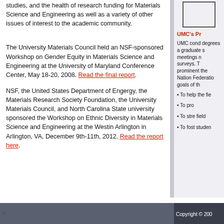studies, and the health of research funding for Materials Science and Engineering as well as a variety of other issues of interest to the academic community.
The University Materials Council held an NSF-sponsored Workshop on Gender Equity in Materials Science and Engineering at the University of Maryland Conference Center, May 18-20, 2008. Read the final report.
NSF, the United States Department of Engergy, the Materials Research Society Foundation, the University Materials Council, and North Carolina State university sponsored the Workshop on Ethnic Diversity in Materials Science and Engineering at the Westin Arlington in Arlington, VA, December 9th-11th, 2012. Read the report here.
[Figure (other): Small image/logo in right column top area]
UMC's Pr
UMC cond degrees a graduate s meetings n surveys. T prominent the Nation Federatio goals of th
To help the fie
To pro
To stre field
To fost studen
Copyright © 200